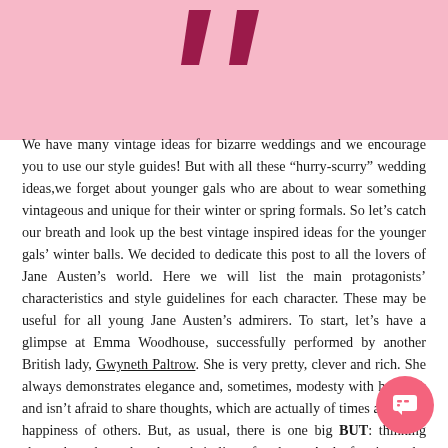[Figure (illustration): Pink banner with two dark pink/maroon quotation mark decorative symbols at the top]
We have many vintage ideas for bizarre weddings and we encourage you to use our style guides! But with all these “hurry-scurry” wedding ideas,we forget about younger gals who are about to wear something vintageous and unique for their winter or spring formals. So let’s catch our breath and look up the best vintage inspired ideas for the younger gals’ winter balls. We decided to dedicate this post to all the lovers of Jane Austen’s world. Here we will list the main protagonists’ characteristics and style guidelines for each character. These may be useful for all young Jane Austen’s admirers. To start, let’s have a glimpse at Emma Woodhouse, successfully performed by another British lady, Gwyneth Paltrow. She is very pretty, clever and rich. She always demonstrates elegance and, sometimes, modesty with her look and isn’t afraid to share thoughts, which are actually of times about the happiness of others. But, as usual, there is one big BUT: thinking about the others she plans their lives for them. And oftentimes the views of people don’t coincide with